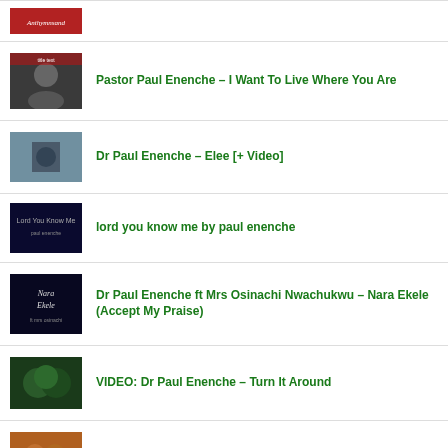[Figure (photo): Thumbnail image with red script text logo]
Pastor Paul Enenche – I Want To Live Where You Are
Dr Paul Enenche – Elee [+ Video]
lord you know me by paul enenche
Dr Paul Enenche ft Mrs Osinachi Nwachukwu – Nara Ekele (Accept My Praise)
VIDEO: Dr Paul Enenche – Turn It Around
Dr Paul Enenche & Family – Keep Holding On
lord i come before your majesty by paul enenche